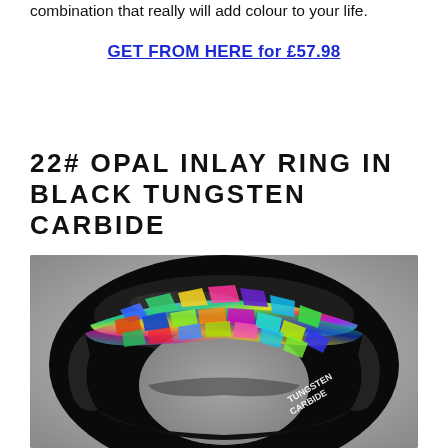combination that really will add colour to your life.
GET FROM HERE for £57.98
22# OPAL INLAY RING IN BLACK TUNGSTEN CARBIDE
[Figure (photo): Close-up photo of a black tungsten carbide ring with a colorful opal inlay band showing multi-colored fragments in blue, green, yellow, red and purple. The inner band of the ring is engraved with 'TUNGSTEN CARBIDE'. The ring is photographed on a grey surface.]